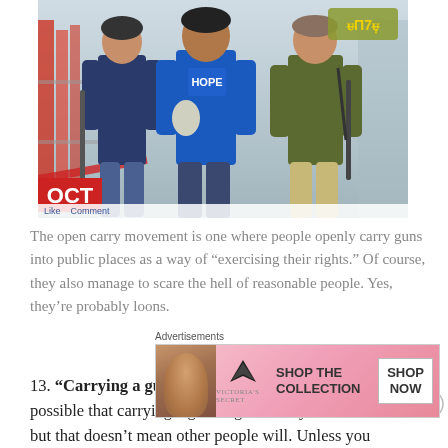[Figure (photo): Photo of three men carrying rifles in what appears to be a retail store. A red OCT badge is visible in the lower left. Below the image is a small 'Like · Comment' bar.]
The open carry movement is one where people openly carry guns into public places as a way of “exercising their rights.” Of course, they also manage to scare the hell of reasonable people. Yes, they’re probably loons.
13. “Carrying a gun makes you safe.” – Well, it’s possible that carrying a gun might make you feel safe, but that doesn’t mean other people will. Unless you wear a
Advertisements
[Figure (screenshot): Victoria’s Secret advertisement banner with model, VS logo, text ‘SHOP THE COLLECTION’, Victoria’s Secret branding, and a ‘SHOP NOW’ button.]